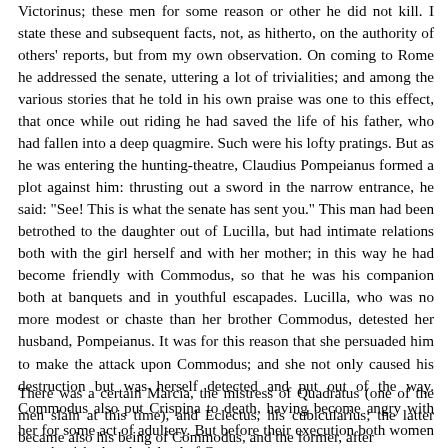Victorinus; these men for some reason or other he did not kill. I state these and subsequent facts, not, as hitherto, on the authority of others' reports, but from my own observation. On coming to Rome he addressed the senate, uttering a lot of trivialities; and among the various stories that he told in his own praise was one to this effect, that once while out riding he had saved the life of his father, who had fallen into a deep quagmire. Such were his lofty pratings. But as he was entering the hunting-theatre, Claudius Pompeianus formed a plot against him: thrusting out a sword in the narrow entrance, he said: "See! This is what the senate has sent you." This man had been betrothed to the daughter out of Lucilla, but had intimate relations both with the girl herself and with her mother; in this way he had become friendly with Commodus, so that he was his companion both at banquets and in youthful escapades. Lucilla, who was no more modest or chaste than her brother Commodus, detested her husband, Pompeianus. It was for this reason that she persuaded him to make the attack upon Commodus; and she not only caused his destruction but was herself detected and put out of the way. Commodus also put Crispina to death, having become angry with her for some act of adultery. But before their execution both women were banished to the island of Capreae.
There was a certain Marcia, the mistress of Quadratus (one of the men slain at this time), and Eclectus, his cubicularius; the latter became also his being of Commodus, and the former, after...